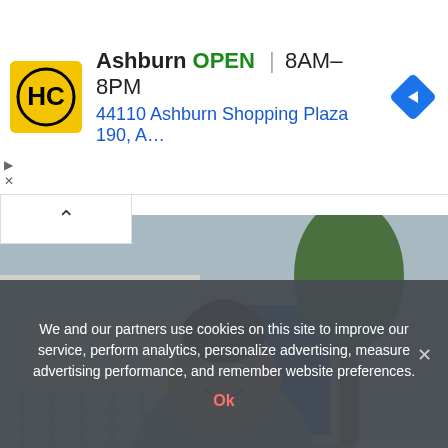[Figure (infographic): Advertisement banner for HC (Hibbett City Gear) store in Ashburn showing logo, OPEN status, hours 8AM-8PM, and address 44110 Ashburn Shopping Plaza 190, A...]
[Figure (photo): Photo of a young woman with dark hair in an updo, wearing a slate blue short-sleeve fitted top, smiling outdoors on a sidewalk with trees and a building with a blue wall in the background.]
We and our partners use cookies on this site to improve our service, perform analytics, personalize advertising, measure advertising performance, and remember website preferences.
Ok